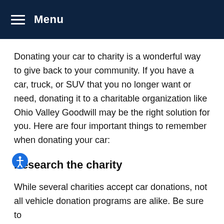Menu
Donating your car to charity is a wonderful way to give back to your community. If you have a car, truck, or SUV that you no longer want or need, donating it to a charitable organization like Ohio Valley Goodwill may be the right solution for you. Here are four important things to remember when donating your car:
Research the charity
While several charities accept car donations, not all vehicle donation programs are alike. Be sure to